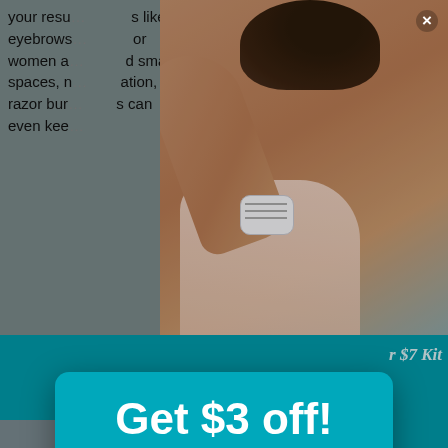your resu... s like eyebrows... or women a... d small spaces, n... ation, razor bur... s can even kee...
[Figure (photo): Woman shaving her underarm with a Venus razor, wearing a light pink top, bathroom background]
r $7 Kit
Get $3 off!
Join our email list and receive $3 off your first shave plan order.*
Email
Sign-up
*Offer not valid on Starter Kits. By proceeding, I agree to receive emails from Venus and other trusted P&G brands and programs and agree to the Privacy Policy, Terms and Conditions and Store Policy